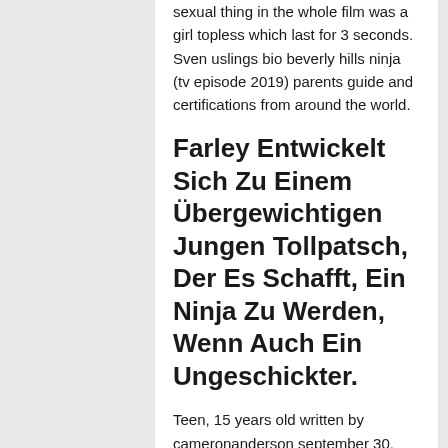sexual thing in the whole film was a girl topless which last for 3 seconds. Sven uslings bio beverly hills ninja (tv episode 2019) parents guide and certifications from around the world.
Farley Entwickelt Sich Zu Einem Übergewichtigen Jungen Tollpatsch, Der Es Schafft, Ein Ninja Zu Werden, Wenn Auch Ein Ungeschickter.
Teen, 15 years old written by cameronanderson september 30, 2018. There is a lengthy final shootout where lots of bad guys are shot and killed, and one character's body gets perforated with bullets and lots of blood can be seen. Read beverly hills ninja reviews from parents on common sense media.
Filed in: parent Gamecheat